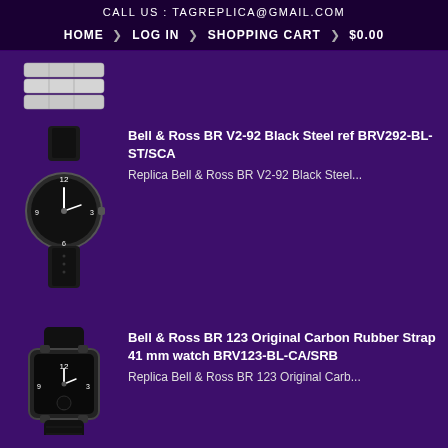CALL US : TAGREPLICA@GMAIL.COM
HOME > LOG IN > SHOPPING CART > $0.00
[Figure (photo): Partial view of a watch bracelet/strap (silver/metal links) at the top of the product listing]
Bell & Ross BR V2-92 Black Steel ref BRV292-BL-ST/SCA
Replica Bell & Ross BR V2-92 Black Steel...
[Figure (photo): Bell & Ross BR V2-92 Black Steel watch with black dial and black leather strap]
Bell & Ross BR 123 Original Carbon Rubber Strap 41 mm watch BRV123-BL-CA/SRB
Replica Bell & Ross BR 123 Original Carb...
[Figure (photo): Bell & Ross BR 123 Original Carbon watch with black dial and black rubber strap, square case]